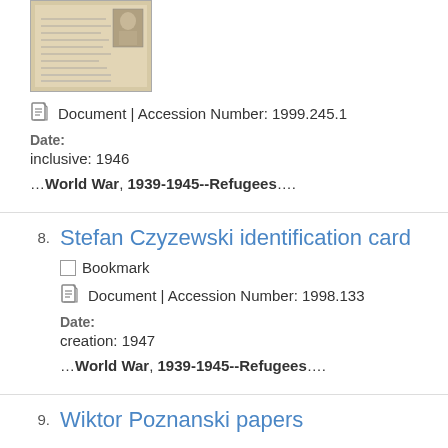[Figure (photo): Thumbnail of a historical document/identification card with handwritten text and a small portrait photo, sepia/aged appearance]
Document | Accession Number: 1999.245.1
Date:
inclusive: 1946
…World War, 1939-1945--Refugees….
Stefan Czyzewski identification card
Bookmark
Document | Accession Number: 1998.133
Date:
creation: 1947
…World War, 1939-1945--Refugees….
Wiktor Poznanski papers